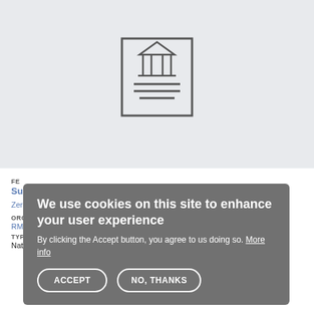[Figure (illustration): Light grey document placeholder image area with a centered document/institution icon (building with columns and horizontal lines representing text)]
FE...
Su...pport Programme
Zero energy buildings
ORGANISATION:
RM...
TYPE:
National strategy/Roadmap/Plan
We use cookies on this site to enhance your user experience
By clicking the Accept button, you agree to us doing so. More info
ACCEPT   NO, THANKS